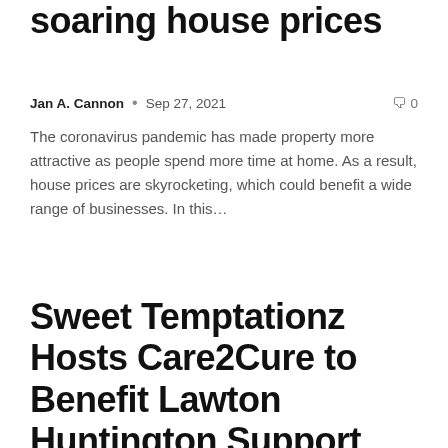soaring house prices
Jan A. Cannon • Sep 27, 2021   🗨 0
The coronavirus pandemic has made property more attractive as people spend more time at home. As a result, house prices are skyrocketing, which could benefit a wide range of businesses. In this…
Sweet Temptationz Hosts Care2Cure to Benefit Lawton Huntington Support Group